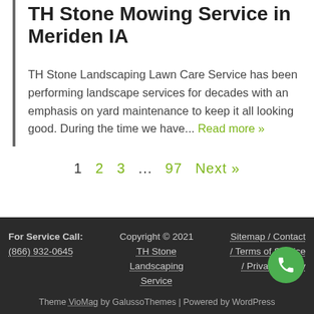TH Stone Mowing Service in Meriden IA
TH Stone Landscaping Lawn Care Service has been performing landscape services for decades with an emphasis on yard maintenance to keep it all looking good. During the time we have... Read more »
1 2 3 ... 97 Next »
For Service Call: (866) 932-0645 | Copyright © 2021 TH Stone Landscaping Service | Sitemap / Contact / Terms of Service / Privacy Policy | Theme VioMag by GalussoThemes | Powered by WordPress